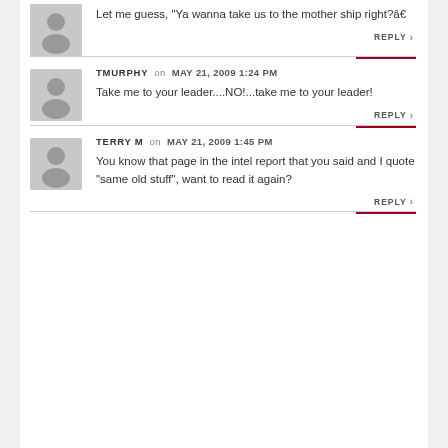Let me guess, “Ya wanna take us to the mother ship right?â€
REPLY
TMURPHY on MAY 21, 2009 1:24 PM
Take me to your leader....NO!...take me to your leader!
REPLY
TERRY M on MAY 21, 2009 1:45 PM
You know that page in the intel report that you said and I quote “same old stuff”, want to read it again?
REPLY